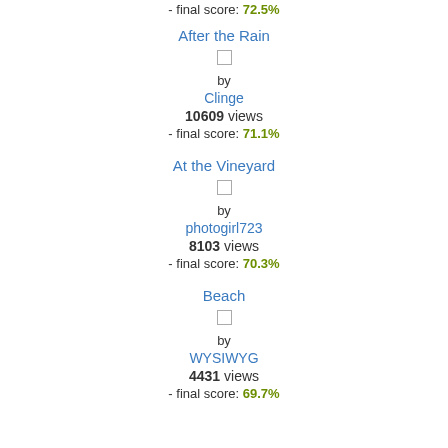- final score: 72.5%
After the Rain
by
Clinge
10609 views
- final score: 71.1%
At the Vineyard
by
photogirl723
8103 views
- final score: 70.3%
Beach
by
WYSIWYG
4431 views
- final score: 69.7%